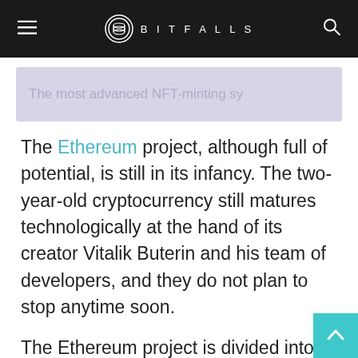BITFALLS
The most advanced NFT-minting sy
The Ethereum project, although full of potential, is still in its infancy. The two-year-old cryptocurrency still matures technologically at the hand of its creator Vitalik Buterin and his team of developers, and they do not plan to stop anytime soon.
The Ethereum project is divided into 4 stages of development:
1. Frontier